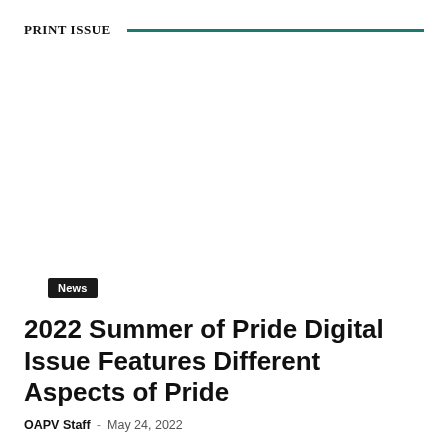PRINT ISSUE
[Figure (photo): Blank image placeholder area below the PRINT ISSUE header]
News
2022 Summer of Pride Digital Issue Features Different Aspects of Pride
OAPV Staff  -  May 24, 2022